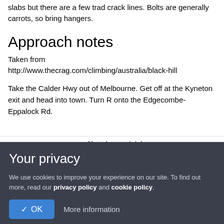slabs but there are a few trad crack lines. Bolts are generally carrots, so bring hangers.
Approach notes
Taken from http://www.thecrag.com/climbing/australia/black-hill
Take the Calder Hwy out of Melbourne. Get off at the Kyneton exit and head into town. Turn R onto the Edgecombe-Eppalock Rd.
++ More Approach Info
Your privacy
We use cookies to improve your experience on our site. To find out more, read our privacy policy and cookie policy.
✓ OK   More information